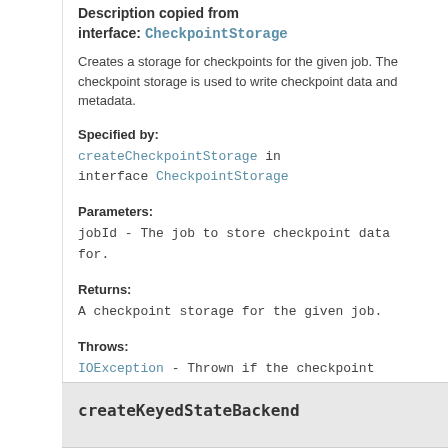Description copied from interface: CheckpointStorage
Creates a storage for checkpoints for the given job. The checkpoint storage is used to write checkpoint data and metadata.
Specified by:
createCheckpointStorage in interface CheckpointStorage
Parameters:
jobId - The job to store checkpoint data for.
Returns:
A checkpoint storage for the given job.
Throws:
IOException - Thrown if the checkpoint storage cannot be initialized.
createKeyedStateBackend